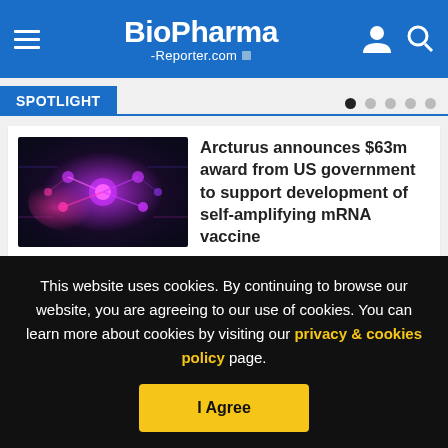BioPharma-Reporter.com
SPOTLIGHT
[Figure (photo): Glowing purple and pink neural/molecular network on dark background, representing mRNA/biotech science imagery]
Arcturus announces $63m award from US government to support development of self-amplifying mRNA vaccine
FOLLOW US
This website uses cookies. By continuing to browse our website, you are agreeing to our use of cookies. You can learn more about cookies by visiting our privacy & cookies policy page.